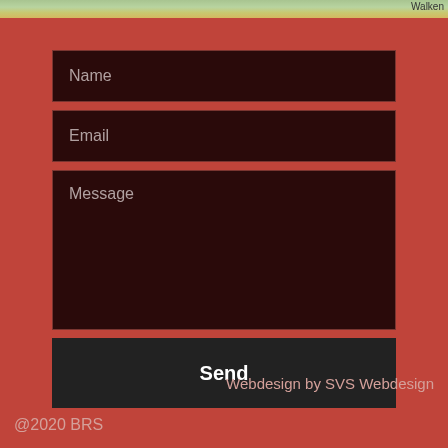[Figure (map): Map strip at top of page showing terrain/street map with label 'Walken' visible at right edge]
Name
Email
Message
Send
Webdesign by SVS Webdesign
@2020 BRS